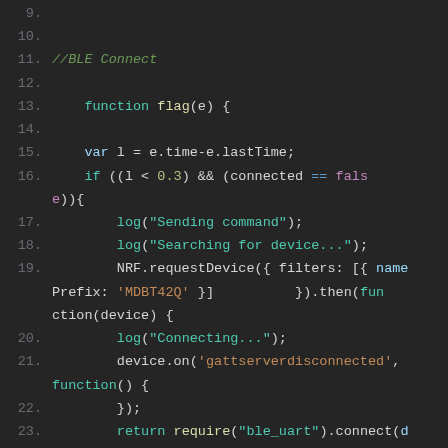Code editor screenshot showing JavaScript BLE connect code, lines 9-25
Line 11: //BLE Connect (comment)
Line 13: function flag(e) {
Line 15: var l = e.time-e.lastTime;
Line 16: if ((l < 0.3) && (connected == false)){
Line 17: log("Sending command");
Line 18: log("Searching for device...");
Line 19: NRF.requestDevice({ filters: [{ namePrefix: 'MDBT42Q' }] }).then(function(device) {
Line 20: log("Connecting...");
Line 21: device.on('gattserverdisconnected', function() {
Line 22: });
Line 23: return require("ble_uart").connect(device);
Line 24: }).then(function(u) {
Line 25: log("Connected");